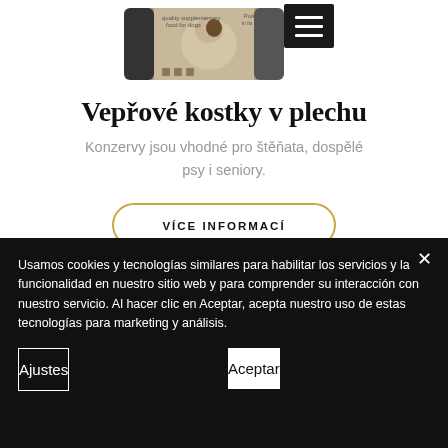[Figure (photo): Product photo of a dog food can (Pork cubes in its own jelly) with a dog image on the label, plus a hamburger menu button overlay in the top-right of the image]
Vepřové kostky v plechu
Konzervy jsou vhodné pro štěňata, dospělé psy i seniory.
VÍCE INFORMACÍ
Usamos cookies y tecnologías similares para habilitar los servicios y la funcionalidad en nuestro sitio web y para comprender su interacción con nuestro servicio. Al hacer clic en Aceptar, acepta nuestro uso de estas tecnologías para marketing y análisis.
Ajustes
Aceptar